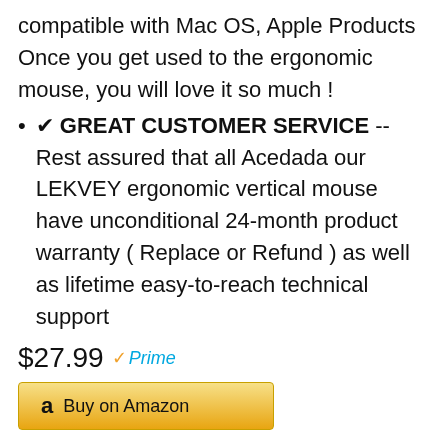compatible with Mac OS, Apple Products⁠ Once you get used to the ergonomic mouse, you will love it so much !
✔ GREAT CUSTOMER SERVICE -- Rest assured that all Acedada our LEKVEY ergonomic vertical mouse have unconditional 24-month product warranty ( Replace or Refund ) as well as lifetime easy-to-reach technical support
$27.99
Buy on Amazon